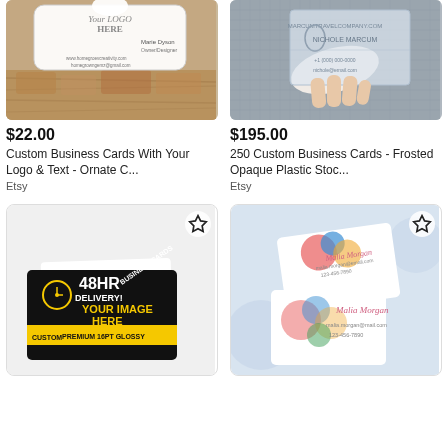[Figure (photo): Custom business card with ornate design, Your Logo Here text, placed on wooden surface]
[Figure (photo): 250 custom frosted opaque plastic business cards, hand holding a translucent card]
$22.00
Custom Business Cards With Your Logo & Text - Ornate C...
Etsy
$195.00
250 Custom Business Cards - Frosted Opaque Plastic Stoc...
Etsy
[Figure (photo): Stack of custom black business cards with 48HR Delivery text in yellow, Your Image Here, Premium 16PT Glossy]
[Figure (photo): Custom business cards with colorful floral folk art design, multiple cards displayed on blue background]